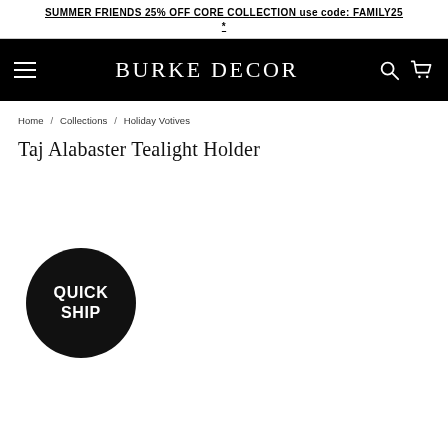SUMMER FRIENDS 25% OFF CORE COLLECTION use code: FAMILY25 *
BURKE DECOR
Home / Collections / Holiday Votives
Taj Alabaster Tealight Holder
[Figure (logo): Black circular badge with white bold text reading QUICK SHIP]